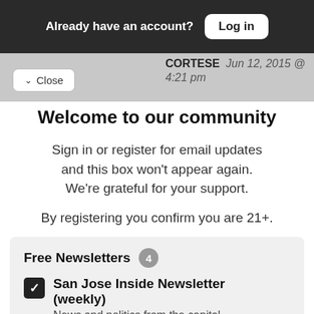Already have an account? Log in
CORTESE  Jun 12, 2015 @ 4:21 pm
Pretty interesting stuff there
✓ Close
Welcome to our community
Sign in or register for email updates and this box won't appear again. We're grateful for your support.
By registering you confirm you are 21+.
Free Newsletters 4
San Jose Inside Newsletter (weekly)
News and politics from the capital